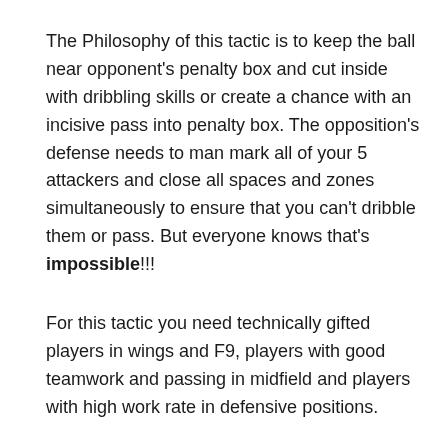The Philosophy of this tactic is to keep the ball near opponent's penalty box and cut inside with dribbling skills or create a chance with an incisive pass into penalty box. The opposition's defense needs to man mark all of your 5 attackers and close all spaces and zones simultaneously to ensure that you can't dribble them or pass. But everyone knows that's impossible!!!
For this tactic you need technically gifted players in wings and F9, players with good teamwork and passing in midfield and players with high work rate in defensive positions.